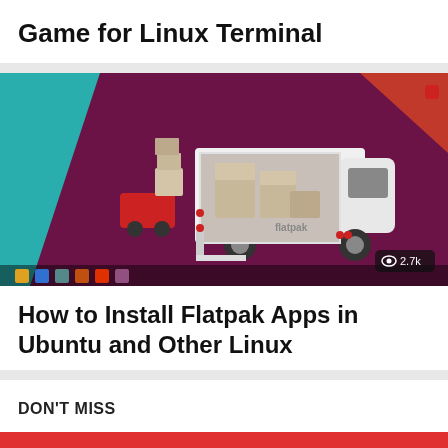Game for Linux Terminal
[Figure (screenshot): Screenshot showing a 3D illustration of a white Flatpak delivery van with boxes on a purple/maroon Ubuntu desktop background with a dock at the bottom. A view count badge shows '2.7k'.]
How to Install Flatpak Apps in Ubuntu and Other Linux
DON'T MISS